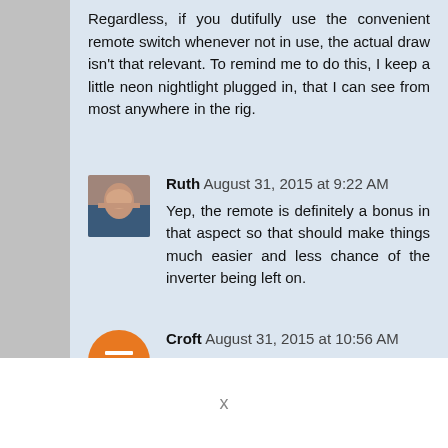Regardless, if you dutifully use the convenient remote switch whenever not in use, the actual draw isn't that relevant. To remind me to do this, I keep a little neon nightlight plugged in, that I can see from most anywhere in the rig.
Ruth  August 31, 2015 at 9:22 AM
Yep, the remote is definitely a bonus in that aspect so that should make things much easier and less chance of the inverter being left on.
Croft  August 31, 2015 at 10:56 AM
We have a 1500 watt inverter under one